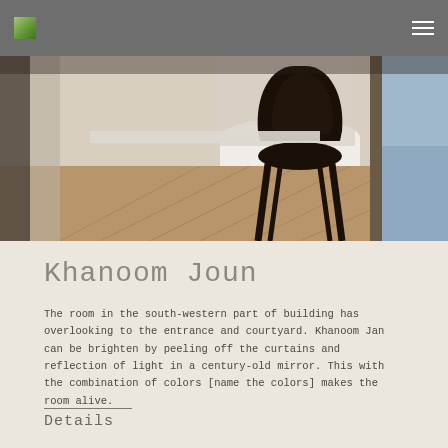Navigation bar with logo and menu icon
[Figure (photo): Interior photo showing a dark bentwood chair at a table in a room with herringbone wood floors, white tablecloth, curtains, and a glimpse of a bed on the right side]
Khanoom Joun
The room in the south-western part of building has overlooking to the entrance and courtyard. Khanoom Jan can be brighten by peeling off the curtains and reflection of light in a century-old mirror. This with the combination of colors [name the colors] makes the room alive.
Details